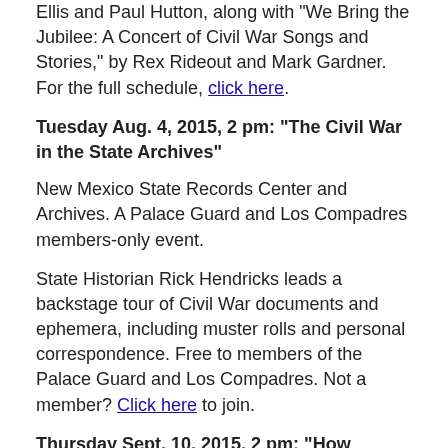Ellis and Paul Hutton, along with "We Bring the Jubilee: A Concert of Civil War Songs and Stories," by Rex Rideout and Mark Gardner. For the full schedule, click here.
Tuesday Aug. 4, 2015, 2 pm: “The Civil War in the State Archives”
New Mexico State Records Center and Archives. A Palace Guard and Los Compadres members-only event.
State Historian Rick Hendricks leads a backstage tour of Civil War documents and ephemera, including muster rolls and personal correspondence. Free to members of the Palace Guard and Los Compadres. Not a member? Click here to join.
Thursday Sept. 10, 2015, 2 pm: “How Lithography Shaped Our Memory of the Civil War”
Landfall Press. A Palace Guard and Los Compadres members-only event.
Curator and Palace Press Director Tom Leech leads a visit to